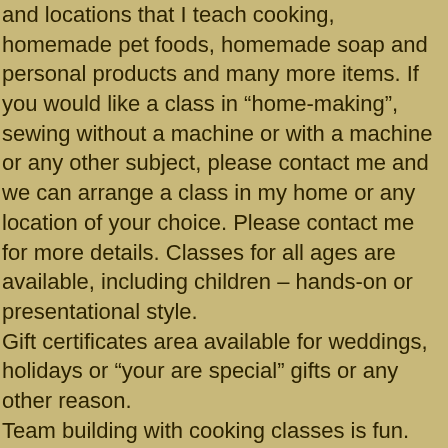and locations that I teach cooking, homemade pet foods, homemade soap and personal products and many more items. If you would like a class in “home-making”, sewing without a machine or with a machine or any other subject, please contact me and we can arrange a class in my home or any location of your choice. Please contact me for more details. Classes for all ages are available, including children – hands-on or presentational style. Gift certificates area available for weddings, holidays or “your are special” gifts or any other reason. Team building with cooking classes is fun. Join co-workers and create recipes or learn about each other while cooking. I am available to teach cooking classes or food related subjects in your home or give presentations or classes for your organizations or groups. Contact me at the following e-mail address: